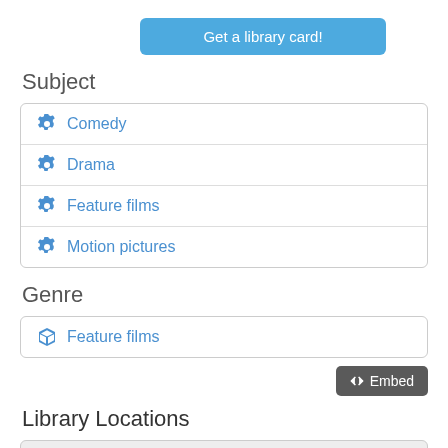[Figure (other): Blue rounded button labeled 'Get a library card!']
Subject
Comedy
Drama
Feature films
Motion pictures
Genre
Feature films
[Figure (other): Dark grey embed button with code brackets icon and label 'Embed']
Library Locations
[Figure (other): Grey map box at bottom of page]